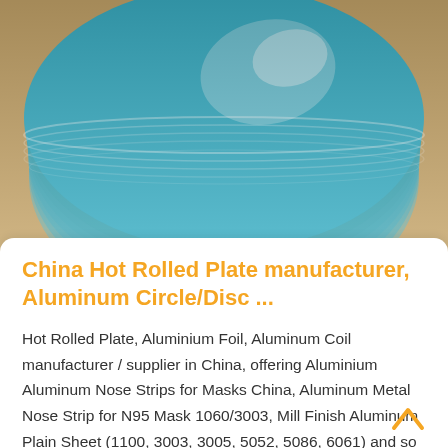[Figure (photo): Stack of teal/blue colored aluminum circle disc plates viewed from above on a wooden surface]
China Hot Rolled Plate manufacturer, Aluminum Circle/Disc ...
Hot Rolled Plate, Aluminium Foil, Aluminum Coil manufacturer / supplier in China, offering Aluminium Aluminum Nose Strips for Masks China, Aluminum Metal Nose Strip for N95 Mask 1060/3003, Mill Finish Aluminum Plain Sheet (1100, 3003, 3005, 5052, 5086, 6061) and so on...